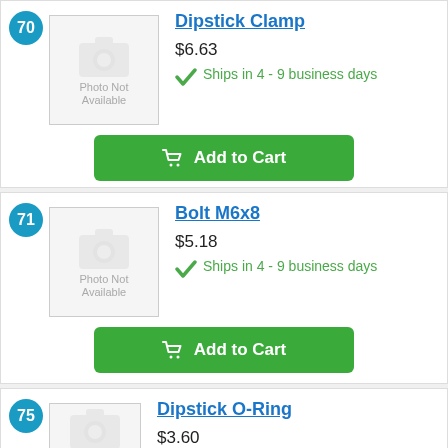70
[Figure (photo): Photo Not Available placeholder image for Dipstick Clamp]
Dipstick Clamp
$6.63
Ships in 4 - 9 business days
Add to Cart
71
[Figure (photo): Photo Not Available placeholder image for Bolt M6x8]
Bolt M6x8
$5.18
Ships in 4 - 9 business days
Add to Cart
75
[Figure (photo): Photo Not Available placeholder image for Dipstick O-Ring]
Dipstick O-Ring
$3.60